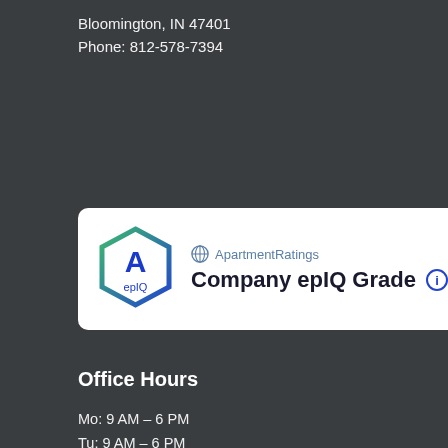Bloomington, IN 47401
Phone: 812-578-7394
[Figure (logo): ApartmentRatings epIQ Grade badge card with hexagon logo showing grade A and text 'Company epIQ Grade']
Office Hours
Mo: 9 AM – 6 PM
Tu: 9 AM – 6 PM
We: 9 AM – 6 PM
Th: 9 AM – 6 PM
Fr: 9 AM – 6 PM
Sa: 10 AM – 5 PM
Su: Closed